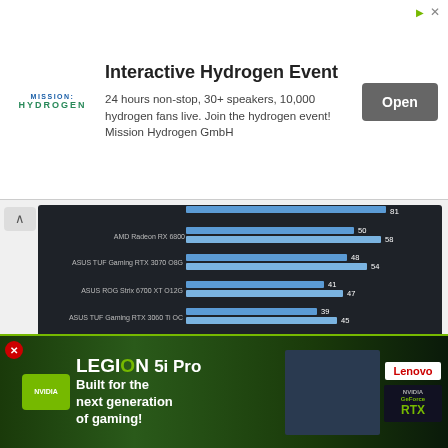[Figure (screenshot): Advertisement banner for Interactive Hydrogen Event by Mission Hydrogen GmbH. Shows logo, title, description text '24 hours non-stop, 30+ speakers, 10,000 hydrogen fans live. Join the hydrogen event! Mission Hydrogen GmbH', and an Open button.]
[Figure (bar-chart): Horizontal grouped bar chart on dark background showing GPU benchmarks. Two bars per GPU (1% Low and Average). GPUs: AMD Radeon RX 6800 (50/58), ASUS TUF Gaming RTX 3070 O8G (48/54), ASUS ROG Strix 6700 XT O12G (41/47), ASUS TUF Gaming RTX 3060 Ti OC (39/45), AMD Radeon RX 6700XT (38/43), ASUS Dual Radeon RX 6600 XT (26/30 in red).]
[Figure (bar-chart): Horizontal grouped bar chart on dark background. Title: Shadow of the Tomb Raider, 3840x2160, DX12, Highest Preset, SMAA, DLSS and CAS Off, Higher is Better. Shows AMD Radeon RX 6900 XT (67/89) and partial ASUS TUF Gaming RTX 3070 O8G (66) and another partial bar (41).]
[Figure (screenshot): Advertisement banner for Lenovo Legion 5i Pro laptop. Green gaming-themed banner with NVIDIA logo, Legion 5i Pro branding, tagline 'Built for the next generation of gaming!', laptop image, Lenovo badge, and NVIDIA GeForce RTX badge.]